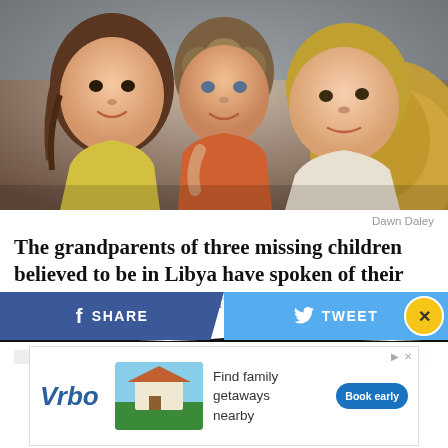[Figure (photo): Three young children cuddling together closely, smiling at camera. Two girls and a toddler/baby in the middle wearing an orange top. Background shows a yellow fluffy blanket.]
Dawn Daley
The grandparents of three missing children believed to be in Libya have spoken of their heartbreak and desperation to bring them back home.